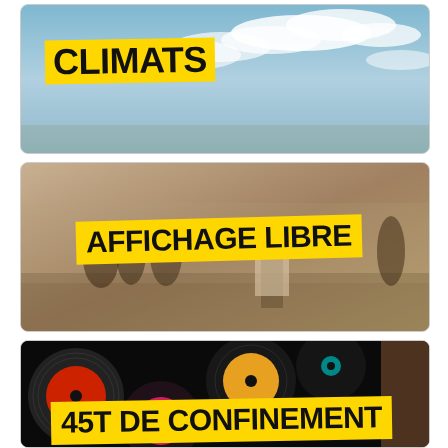[Figure (illustration): Image card with blue sky and clouds background, overlaid with bold yellow banner reading CLIMATS in black uppercase text]
[Figure (photo): Sepia-toned vintage photograph of people in a public square with a billboard/column, overlaid with bold yellow banner reading AFFICHAGE LIBRE in black uppercase text]
[Figure (photo): Dark photograph of vinyl records (45 rpm) with colorful labels, overlaid with bold yellow banner reading 45T DE CONFINEMENT in black uppercase text]